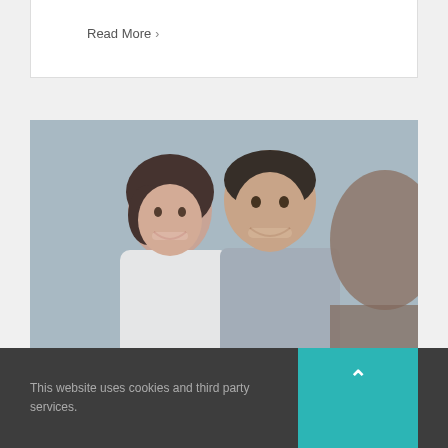Read More ›
[Figure (photo): Two smiling adults (a woman in white and a man in grey shirt) sitting across from a consultant or advisor in a meeting setting, with a blurred background.]
The 5 things adults with
This website uses cookies and third party services.